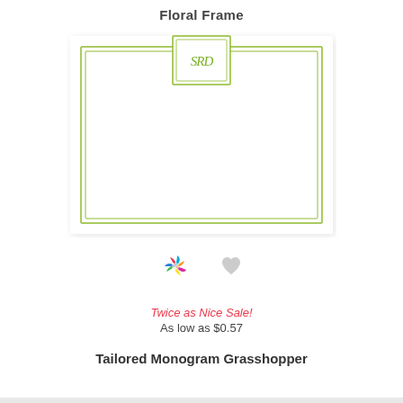Floral Frame
[Figure (illustration): A white notecard with a green double-line rectangular border and a monogram badge at the top center containing the letters SRD in green script, displayed on a white background with a subtle shadow.]
[Figure (infographic): A colorful pinwheel/flower icon (multi-color: pink, yellow, blue, green, red petals) and a gray heart icon side by side.]
Twice as Nice Sale!
As low as $0.57
Tailored Monogram Grasshopper